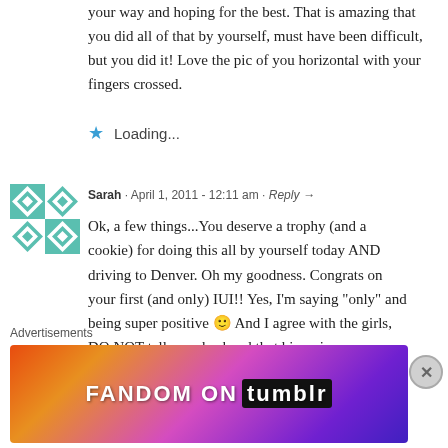your way and hoping for the best. That is amazing that you did all of that by yourself, must have been difficult, but you did it! Love the pic of you horizontal with your fingers crossed.
Loading...
Sarah · April 1, 2011 - 12:11 am · Reply →
[Figure (illustration): Quilted pattern avatar icon in teal and white geometric design]
Ok, a few things...You deserve a trophy (and a cookie) for doing this all by yourself today AND driving to Denver. Oh my goodness. Congrats on your first (and only) IUI!! Yes, I'm saying "only" and being super positive 🙂 And I agree with the girls, DO NOT tell your husband that his swimmers were outstanding, you truly
Advertisements
[Figure (screenshot): Fandom on Tumblr advertisement banner with colorful gradient background]